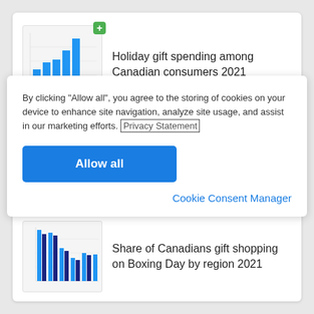[Figure (bar-chart): Thumbnail of a bar chart showing holiday gift spending data with blue bars of varying heights]
Holiday gift spending among Canadian consumers 2021
By clicking “Allow all”, you agree to the storing of cookies on your device to enhance site navigation, analyze site usage, and assist in our marketing efforts. Privacy Statement
Allow all
Cookie Consent Manager
[Figure (grouped-bar-chart): Thumbnail of a grouped bar chart showing share of Canadians gift shopping on Boxing Day by region with blue and dark navy bars]
Share of Canadians gift shopping on Boxing Day by region 2021